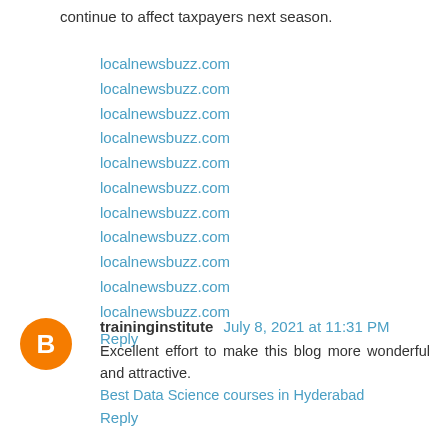continue to affect taxpayers next season.
localnewsbuzz.com
localnewsbuzz.com
localnewsbuzz.com
localnewsbuzz.com
localnewsbuzz.com
localnewsbuzz.com
localnewsbuzz.com
localnewsbuzz.com
localnewsbuzz.com
localnewsbuzz.com
localnewsbuzz.com
Reply
traininginstitute July 8, 2021 at 11:31 PM
Excellent effort to make this blog more wonderful and attractive.
Best Data Science courses in Hyderabad
Reply